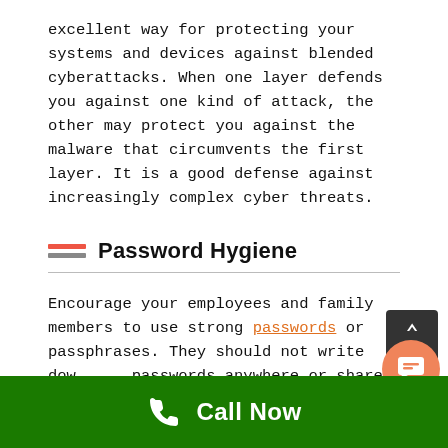excellent way for protecting your systems and devices against blended cyberattacks. When one layer defends you against one kind of attack, the other may protect you against the malware that circumvents the first layer. It is a good defense against increasingly complex cyber threats.
Password Hygiene
Encourage your employees and family members to use strong passwords or passphrases. They should not write down the passwords anywhere or share them with
[Figure (other): Scroll-to-top button (dark gray, upward arrow)]
[Figure (other): Chat bubble button (orange circle with chat icon)]
Call Now